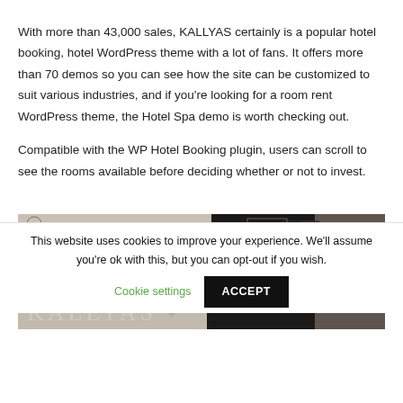With more than 43,000 sales, KALLYAS certainly is a popular hotel booking, hotel WordPress theme with a lot of fans. It offers more than 70 demos so you can see how the site can be customized to suit various industries, and if you're looking for a room rent WordPress theme, the Hotel Spa demo is worth checking out.
Compatible with the WP Hotel Booking plugin, users can scroll to see the rooms available before deciding whether or not to invest.
[Figure (screenshot): Screenshot of the KALLYAS hotel WordPress theme website with navigation bar and dark room interior image, with KALLYAS text in the lower left.]
This website uses cookies to improve your experience. We'll assume you're ok with this, but you can opt-out if you wish.